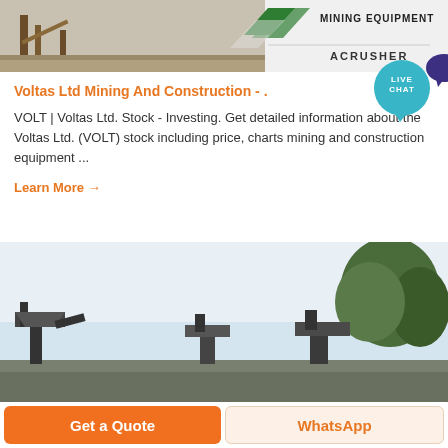[Figure (photo): Mining equipment scene at top with machinery and ACRUSHER branding on the right]
Voltas Ltd Mining And Construction - .
VOLT | Voltas Ltd. Stock - Investing. Get detailed information about the Voltas Ltd. (VOLT) stock including price, charts mining and construction equipment ...
Learn More →
[Figure (photo): Outdoor mining equipment scene with sky, trees, and industrial machinery silhouetted against light sky]
Get a Quote
WhatsApp